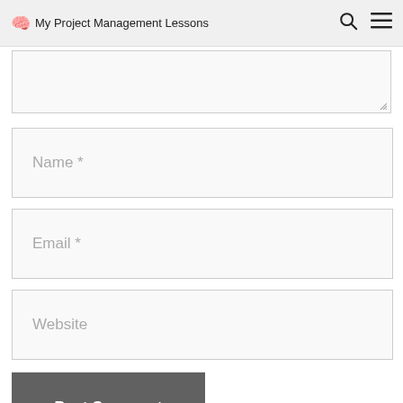🧠 My Project Management Lessons
[Figure (screenshot): Textarea input box at top of comment form, partially visible with resize handle at bottom right]
Name *
Email *
Website
Post Comment
Search ...
[Figure (photo): Circular profile photo of a person, partially visible at bottom of page]